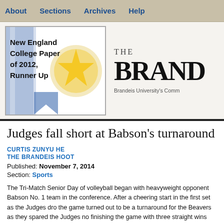About   Sections   Archives   Help
[Figure (logo): Award badge: New England College Paper of 2012, Runner Up with blue ribbon medal illustration]
THE BRANDEIS (Hoot) — Brandeis University's Comm(unity Newspaper)
Judges fall short at Babson's turnaround
CURTIS ZUNYU HE
THE BRANDEIS HOOT
Published: November 7, 2014
Section: Sports
The Tri-Match Senior Day of volleyball began with heavyweight opponent Babson No. 1 team in the conference. After a cheering start in the first set as the Judges dro the game turned out to be a turnaround for the Beavers as they spared the Judges no finishing the game with three straight wins with scores of 25-20, 25-18 and 25-13. next combat with a 7-21 record while Babson rose to 23-8 overall and 9-1 for confe
The fighting effort from the Judges was quite impressive in the first three sets, espe they managed to win. The Judges had 14 kills with a 37.9 percent hitting percentage